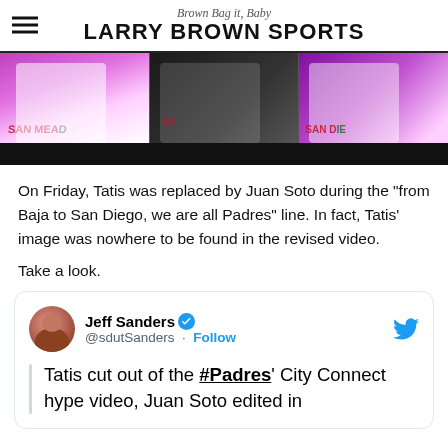Brown Bag it, Baby
LARRY BROWN SPORTS
[Figure (photo): Three panels showing baseball players wearing Padres City Connect jerseys against colorful backgrounds (purple/neon left, dark studio center, purple/neon right). A black bar runs along the bottom.]
On Friday, Tatis was replaced by Juan Soto during the “from Baja to San Diego, we are all Padres” line. In fact, Tatis’ image was nowhere to be found in the revised video.
Take a look.
Jeff Sanders @sdutSanders · Follow
Tatis cut out of the #Padres’ City Connect hype video, Juan Soto edited in